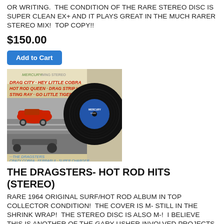OR WRITING.  THE CONDITION OF THE RARE STEREO DISC IS SUPER CLEAN EX+ AND IT PLAYS GREAT IN THE MUCH RARER STEREO MIX!  TOP COPY!!
$150.00
Add to Cart
[Figure (photo): Photo of a vinyl record album cover for The Dragsters - Hot Rod Hits on Mercury Wing Stereo label, showing hot rod cars and a vinyl record disc]
THE DRAGSTERS- HOT ROD HITS (STEREO)
RARE 1964 ORIGINAL SURF/HOT ROD ALBUM IN TOP COLLECTOR CONDITION!  THE COVER IS M- STILL IN THE SHRINK WRAP!  THE STEREO DISC IS ALSO M-!  I BELIEVE THIS IS ANOTHER OF THE GARY USHER INVOLVED PROJECTS OF THE EARLY SIXTIES BUT THERE IS NO CREDIT ON THE COVER OR THE LABELS.  TOP COPY AND VERY HARD TO FIND IN